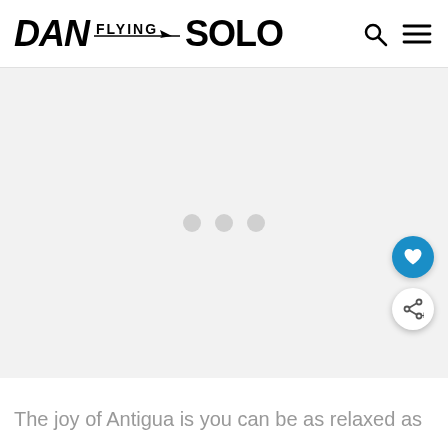DAN FLYING SOLO
[Figure (other): Loading placeholder image area with three grey dots indicating content loading, light grey background]
The joy of Antigua is you can be as relaxed as